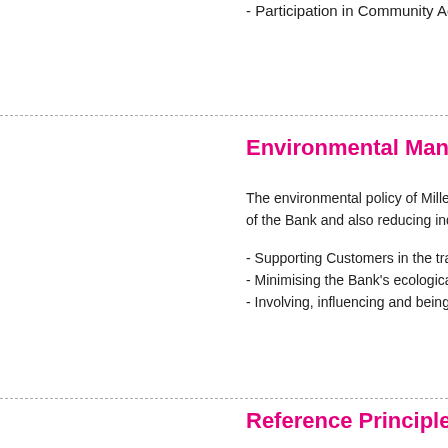- Participation in Community Activities.
Environmental Management
The environmental policy of Millennium bcp focuses on reducing the direct impacts of the Bank and also reducing indirect impacts.
- Supporting Customers in the transition to a more sustainable economy;
- Minimising the Bank’s ecological footprint;
- Involving, influencing and being influenced by stakeholders;
Reference Principles
Under the strategy of social responsibility, Millennium bcp is a member of entities that guarantee transparency and seeks to promote in its sphere of influence, a set of key principles.